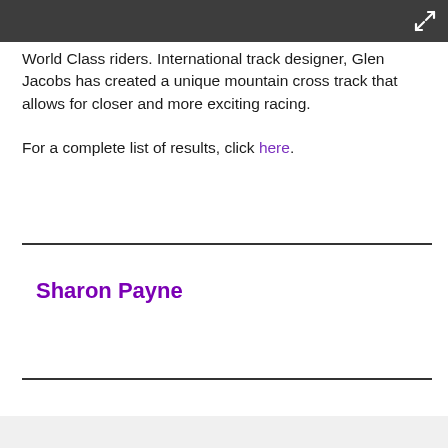World Class riders. International track designer, Glen Jacobs has created a unique mountain cross track that allows for closer and more exciting racing.

For a complete list of results, click here.
Sharon Payne